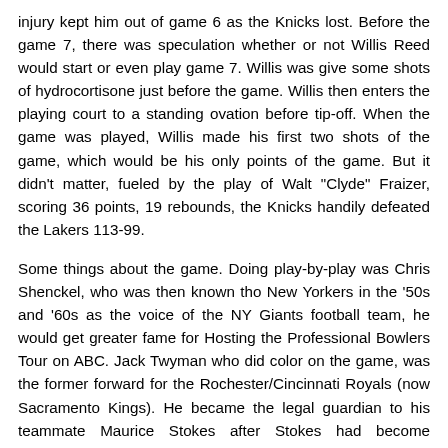injury kept him out of game 6 as the Knicks lost. Before the game 7, there was speculation whether or not Willis Reed would start or even play game 7. Willis was give some shots of hydrocortisone just before the game. Willis then enters the playing court to a standing ovation before tip-off. When the game was played, Willis made his first two shots of the game, which would be his only points of the game. But it didn't matter, fueled by the play of Walt "Clyde" Fraizer, scoring 36 points, 19 rebounds, the Knicks handily defeated the Lakers 113-99.
Some things about the game. Doing play-by-play was Chris Shenckel, who was then known tho New Yorkers in the '50s and '60s as the voice of the NY Giants football team, he would get greater fame for Hosting the Professional Bowlers Tour on ABC. Jack Twyman who did color on the game, was the former forward for the Rochester/Cincinnati Royals (now Sacramento Kings). He became the legal guardian to his teammate Maurice Stokes after Stokes had become paralyzed during a game. Twyman took care of Stokes until his death in 1970. For a good film about both Twyman and Stokes in recommend